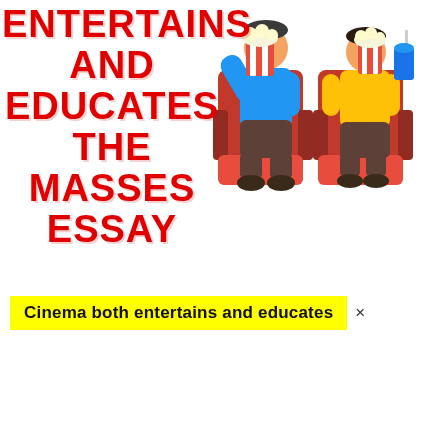ENTERTAINS AND EDUCATES THE MASSES ESSAY
[Figure (illustration): Two cartoon people sitting in red cinema seats, one in blue shirt holding a striped popcorn bucket, one in yellow shirt with a drink and popcorn bucket.]
Cinema both entertains and educates ×